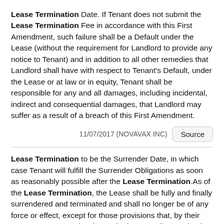Lease Termination Date. If Tenant does not submit the Lease Termination Fee in accordance with this First Amendment, such failure shall be a Default under the Lease (without the requirement for Landlord to provide any notice to Tenant) and in addition to all other remedies that Landlord shall have with respect to Tenant's Default, under the Lease or at law or in equity, Tenant shall be responsible for any and all damages, including incidental, indirect and consequential damages, that Landlord may suffer as a result of a breach of this First Amendment.
11/07/2017 (NOVAVAX INC)  Source
Lease Termination to be the Surrender Date, in which case Tenant will fulfill the Surrender Obligations as soon as reasonably possible after the Lease Termination.As of the Lease Termination, the Lease shall be fully and finally surrendered and terminated and shall no longer be of any force or effect, except for those provisions that, by their express terms, survive the expiration or earlier termination of the Lease, including, for the avoidance of doubt, Article